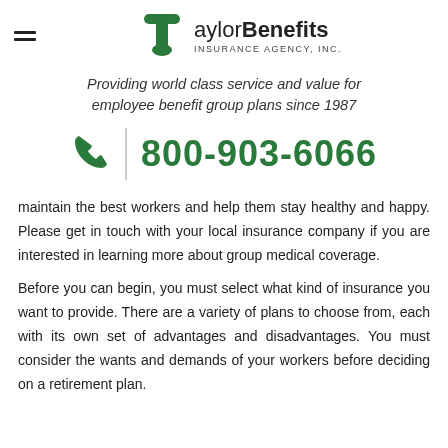Taylor Benefits Insurance Agency, Inc.
Providing world class service and value for employee benefit group plans since 1987
800-903-6066
maintain the best workers and help them stay healthy and happy. Please get in touch with your local insurance company if you are interested in learning more about group medical coverage.
Before you can begin, you must select what kind of insurance you want to provide. There are a variety of plans to choose from, each with its own set of advantages and disadvantages. You must consider the wants and demands of your workers before deciding on a retirement plan.